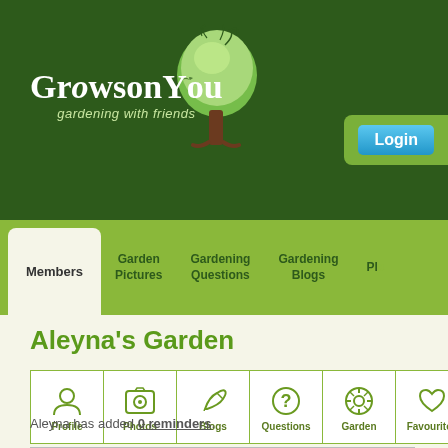[Figure (logo): GrowsonYou logo with green tree and text 'GrowsonYou gardening with friends']
[Figure (screenshot): Login button (blue) in green rounded box at top right]
Members | Garden Pictures | Gardening Questions | Gardening Blogs | Pla...
Aleyna's Garden
[Figure (infographic): Row of 6 icon buttons: Profile, Photos, Blogs, Questions, Garden, Favourites]
Aleyna has added 0 reminders.